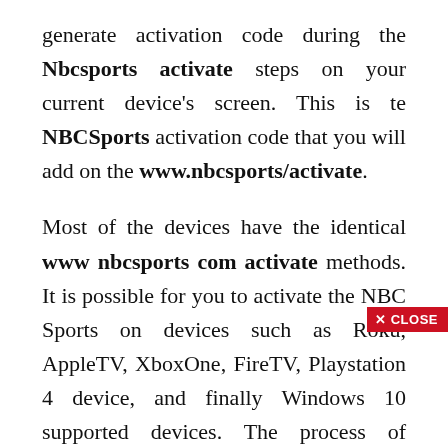generate activation code during the Nbcsports activate steps on your current device's screen. This is te NBCSports activation code that you will add on the www.nbcsports/activate.
Most of the devices have the identical www nbcsports com activate methods. It is possible for you to activate the NBC Sports on devices such as Roku, AppleTV, XboxOne, FireTV, Playstation 4 device, and finally Windows 10 supported devices. The process of Nbcsports/activate requires an activation code which is generated the moment you do subscription and also